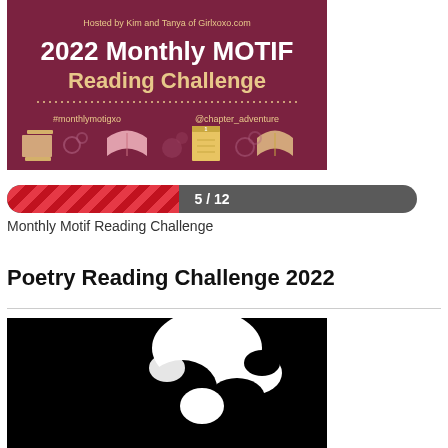[Figure (illustration): 2022 Monthly MOTIF Reading Challenge banner on dark maroon background with decorative book illustrations. Text: 'Hosted by Kim and Tanya of Girlxoxo.com', '2022 Monthly MOTIF Reading Challenge', '#monthlymotigxo', '@chapter_adventure']
[Figure (infographic): Progress bar showing 5/12 completion with red diagonal stripe fill on dark gray background]
Monthly Motif Reading Challenge
Poetry Reading Challenge 2022
[Figure (photo): Black and white image, partially visible, showing a black background with white cow-print like shapes]